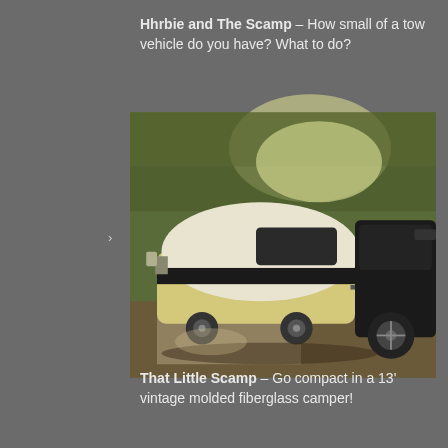Hhrbie and The Scamp – How small of a tow vehicle do you have? What to do?
[Figure (photo): A small vintage fiberglass Scamp camper trailer parked next to a dark SUV on a gravel/paved surface surrounded by trees. The camper is cream/yellow colored with a black horizontal stripe and a white rounded top.]
That Little Scamp – Go compact in a 13' vintage molded fiberglass camper!